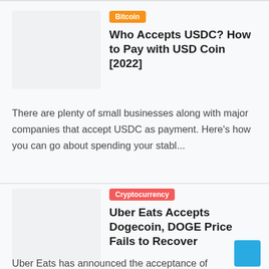[Figure (photo): Thumbnail image placeholder for USDC article, light gray rectangle]
Bitcoin
Who Accepts USDC? How to Pay with USD Coin [2022]
There are plenty of small businesses along with major companies that accept USDC as payment. Here's how you can go about spending your stabl...
[Figure (photo): Thumbnail image placeholder for Dogecoin article, light gray rectangle]
Cryptocurrency
Uber Eats Accepts Dogecoin, DOGE Price Fails to Recover
Uber Eats has announced the acceptance of